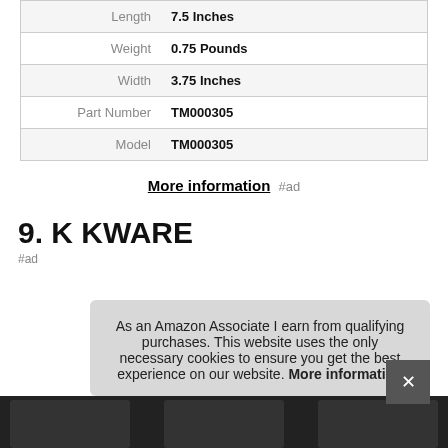| Length | 7.5 Inches |
| Weight | 0.75 Pounds |
| Width | 3.75 Inches |
| Part Number | TM000305 |
| Model | TM000305 |
More information #ad
9. K KWARE
#ad
As an Amazon Associate I earn from qualifying purchases. This website uses the only necessary cookies to ensure you get the best experience on our website. More information